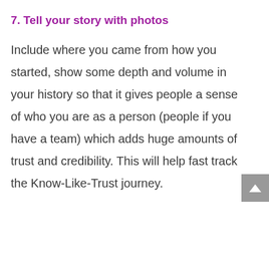7. Tell your story with photos
Include where you came from how you started, show some depth and volume in your history so that it gives people a sense of who you are as a person (people if you have a team) which adds huge amounts of trust and credibility. This will help fast track the Know-Like-Trust journey.